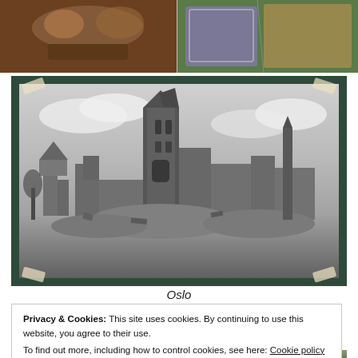[Figure (photo): Two photographs side by side at top: left shows objects with warm brown tones, right shows colorful textile/fabric items on green background]
[Figure (photo): Black and white photograph of bombed/destroyed church ruins taped to a dark green board with tape at corners. A tall church tower stands amid rubble and ruins.]
Oslo
Privacy & Cookies: This site uses cookies. By continuing to use this website, you agree to their use.
To find out more, including how to control cookies, see here: Cookie policy
[Figure (photo): Partial view of another photograph at the bottom of the page showing outdoor scene]